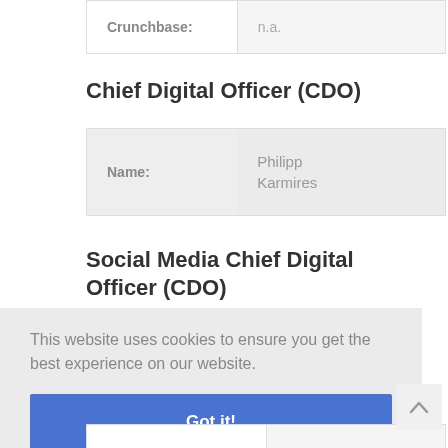| Crunchbase: | n.a. |
| --- | --- |
| Crunchbase: | n.a. |
Chief Digital Officer (CDO)
| Name: | Philipp Karmires |
| --- | --- |
| Name: | Philipp Karmires |
Social Media Chief Digital Officer (CDO)
This website uses cookies to ensure you get the best experience on our website.
Got it!